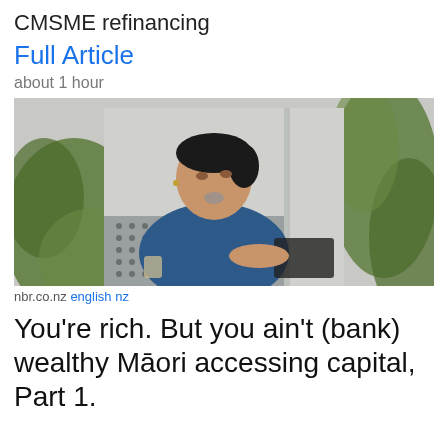CMSME refinancing
Full Article
about 1 hour
[Figure (photo): Woman with tā moko (chin tattoo) wearing a blue top, seated in an office with plants in the foreground, looking to the side]
nbr.co.nz english nz
You're rich. But you ain't (bank) wealthy Māori accessing capital, Part 1.